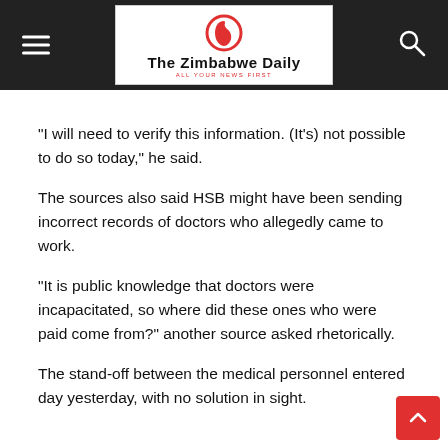The Zimbabwe Daily
“I will need to verify this information. (It’s) not possible to do so today,” he said.
The sources also said HSB might have been sending incorrect records of doctors who allegedly came to work.
“It is public knowledge that doctors were incapacitated, so where did these ones who were paid come from?” another source asked rhetorically.
The stand-off between the medical personnel entered day yesterday, with no solution in sight.